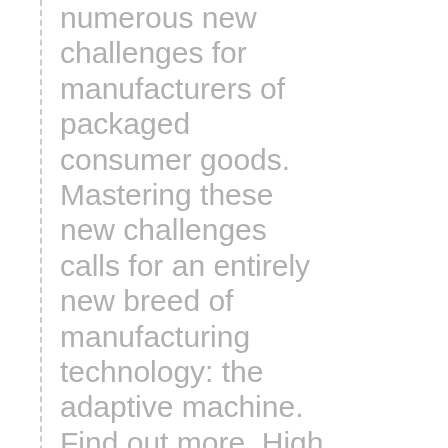numerous new challenges for manufacturers of packaged consumer goods. Mastering these new challenges calls for an entirely new breed of manufacturing technology: the adaptive machine. Find out more. High Strength Stainless Steel